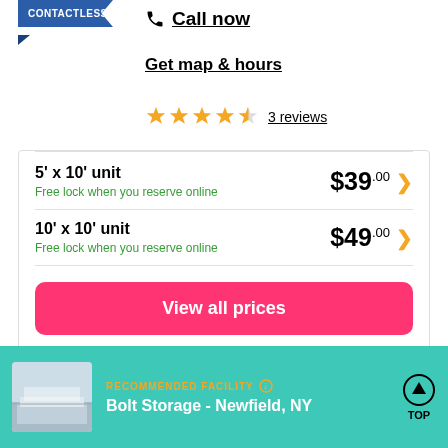CONTACTLESS
Call now
Get map & hours
3 reviews
5' x 10' unit — Free lock when you reserve online — $39.00
10' x 10' unit — Free lock when you reserve online — $49.00
View all prices
RECOMMENDED FACILITY
Bolt Storage - Newfield, NY
[Figure (photo): Exterior photo of Bolt Storage facility in Newfield, NY]